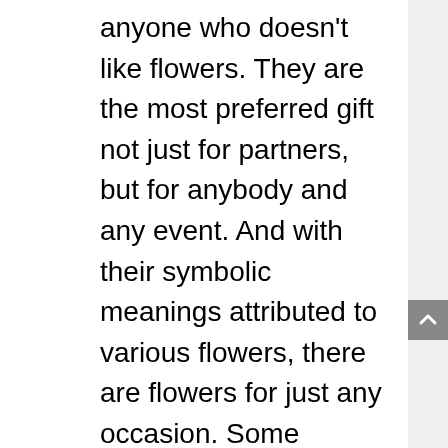anyone who doesn't like flowers. They are the most preferred gift not just for partners, but for anybody and any event. And with their symbolic meanings attributed to various flowers, there are flowers for just any occasion. Some flowers symbolize happiness, gratitude, sadness, apology, success, etc which aids in expressing feelings easier.
Out of the various assortment of flowers, red roses make a perfect gift for a wife as they symbolize love and passion. They as depict commitment, faithfulness, and loyalty. Besides that, they also symbolize